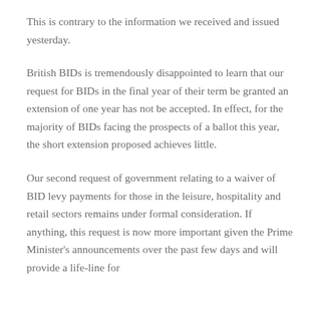This is contrary to the information we received and issued yesterday.
British BIDs is tremendously disappointed to learn that our request for BIDs in the final year of their term be granted an extension of one year has not be accepted. In effect, for the majority of BIDs facing the prospects of a ballot this year, the short extension proposed achieves little.
Our second request of government relating to a waiver of BID levy payments for those in the leisure, hospitality and retail sectors remains under formal consideration. If anything, this request is now more important given the Prime Minister's announcements over the past few days and will provide a life-line for